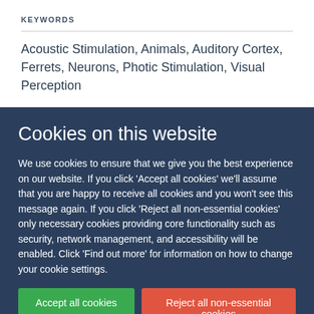KEYWORDS
Acoustic Stimulation, Animals, Auditory Cortex, Ferrets, Neurons, Photic Stimulation, Visual Perception
Cookies on this website
We use cookies to ensure that we give you the best experience on our website. If you click 'Accept all cookies' we'll assume that you are happy to receive all cookies and you won't see this message again. If you click 'Reject all non-essential cookies' only necessary cookies providing core functionality such as security, network management, and accessibility will be enabled. Click 'Find out more' for information on how to change your cookie settings.
Accept all cookies
Reject all non-essential cookies